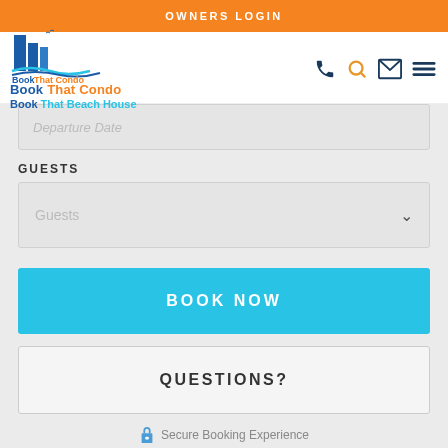OWNERS LOGIN
[Figure (logo): Book That Condo / Book That Beach House logo with blue building graphic]
Departure Date
GUESTS
Guests
BOOK NOW
QUESTIONS?
Secure Booking Experience